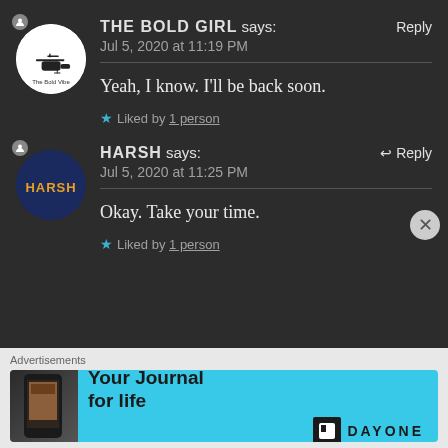THE BOLD GIRL says: Reply
Jul 5, 2020 at 11:19 PM
Yeah, I know. I'll be back soon.
★ Liked by 1 person
HARSH says: ↩ Reply
Jul 5, 2020 at 11:25 PM
Okay. Take your time.
★ Liked by 1 person
Advertisements
Your Journal for life  DAYONE